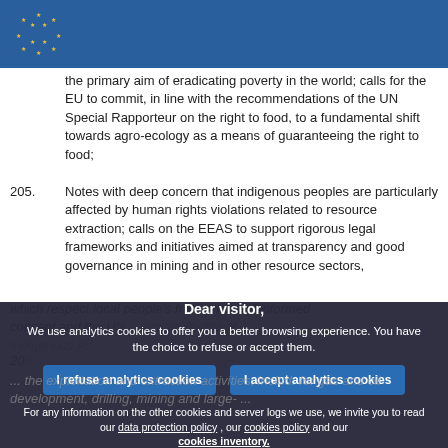the primary aim of eradicating poverty in the world; calls for the EU to commit, in line with the recommendations of the UN Special Rapporteur on the right to food, to a fundamental shift towards agro-ecology as a means of guaranteeing the right to food;
205. Notes with deep concern that indigenous peoples are particularly affected by human rights violations related to resource extraction; calls on the EEAS to support rigorous legal frameworks and initiatives aimed at transparency and good governance in mining and in other resource sectors,
which respect local people's free, prior and informed consent and the UN ... the Rights of Indigenous Peoples...
Dear visitor, We use analytics cookies to offer you a better browsing experience. You have the choice to refuse or accept them. I refuse analytics cookies | I accept analytics cookies. For any information on the other cookies and server logs we use, we invite you to read our data protection policy, our cookies policy and our cookies inventory.